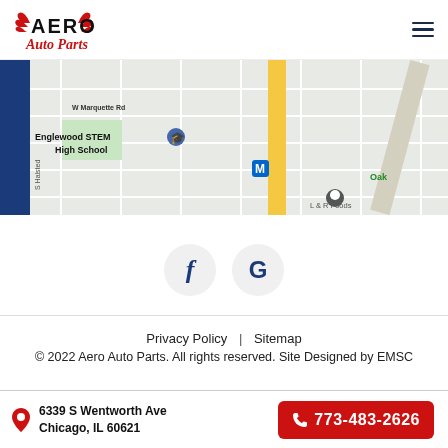[Figure (logo): Aero Auto Parts logo with red wings and text]
[Figure (map): Google Maps screenshot showing Englewood STEM High School area on W Marquette Rd, Chicago, with S Halsted St visible and a location marker near L&R Foods]
[Figure (infographic): Facebook and Google social media icon buttons (circular light grey buttons)]
Privacy Policy  |  Sitemap
© 2022 Aero Auto Parts. All rights reserved. Site Designed by EMSC
6339 S Wentworth Ave
Chicago, IL 60621
773-483-2626